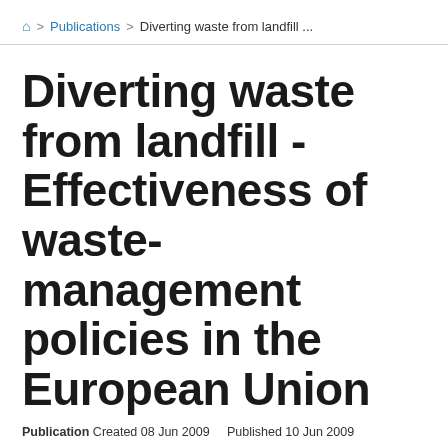🏠 > Publications > Diverting waste from landfill ...
Diverting waste from landfill - Effectiveness of waste-management policies in the European Union
Publication  Created 08 Jun 2009     Published 10 Jun 2009